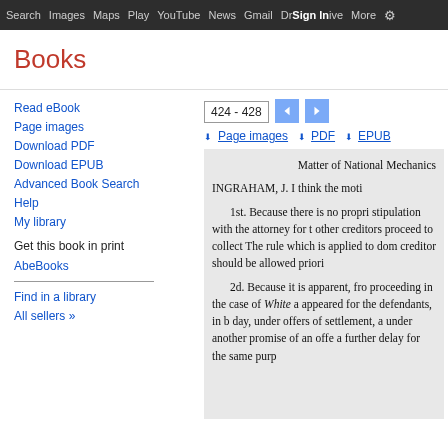Search  Images  Maps  Play  YouTube  News  Gmail  Drive  More  Sign In
Books
424 - 428
Page images   PDF   EPUB
Read eBook
Page images
Download PDF
Download EPUB
Advanced Book Search
Help
My library
Get this book in print
AbeBooks
Find in a library
All sellers »
Matter of National Mechanics

INGRAHAM, J. I think the moti

1st. Because there is no propri stipulation with the attorney for t other creditors proceed to collect The rule which is applied to dom creditor should be allowed priori

2d. Because it is apparent, from proceeding in the case of White a appeared for the defendants, in b day, under offers of settlement, a under another promise of an offe a further delay for the same purp